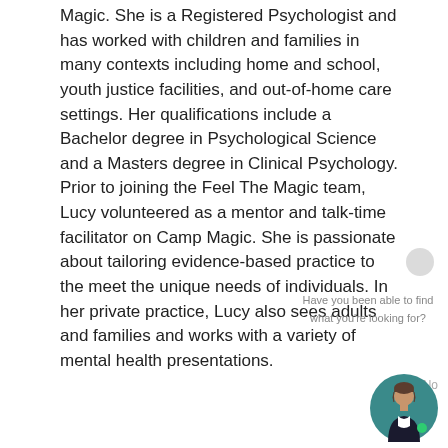Magic. She is a Registered Psychologist and has worked with children and families in many contexts including home and school, youth justice facilities, and out-of-home care settings. Her qualifications include a Bachelor degree in Psychological Science and a Masters degree in Clinical Psychology. Prior to joining the Feel The Magic team, Lucy volunteered as a mentor and talk-time facilitator on Camp Magic. She is passionate about tailoring evidence-based practice to the meet the unique needs of individuals. In her private practice, Lucy also sees adults and families and works with a variety of mental health presentations.
[Figure (illustration): Chatbot interface overlay with a circular avatar icon, a feedback prompt asking 'Have you been able to find what you're looking for?' with Yes and No buttons, and a female avatar chatbot icon in the bottom right corner.]